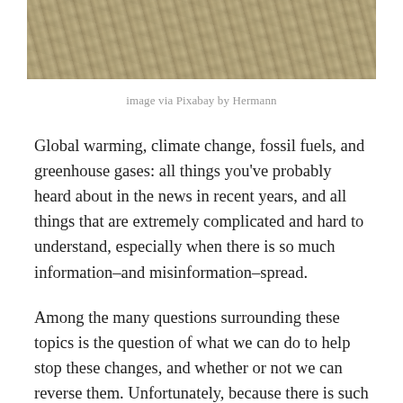[Figure (photo): Close-up photograph of turbulent muddy water or flood water, showing swirling sandy-brown waves and foam texture.]
image via Pixabay by Hermann
Global warming, climate change, fossil fuels, and greenhouse gases: all things you've probably heard about in the news in recent years, and all things that are extremely complicated and hard to understand, especially when there is so much information–and misinformation–spread.
Among the many questions surrounding these topics is the question of what we can do to help stop these changes, and whether or not we can reverse them. Unfortunately, because there is such a gap between what we do and when we feel the effects, it's nearly